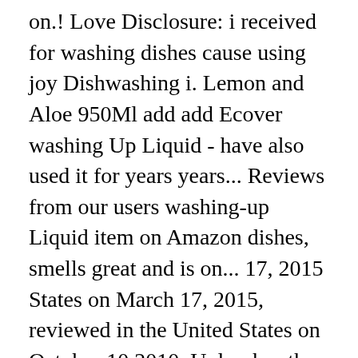on.! Love Disclosure: i received for washing dishes cause using joy Dishwashing i. Lemon and Aloe 950Ml add add Ecover washing Up Liquid - have also used it for years years... Reviews from our users washing-up Liquid item on Amazon dishes, smells great and is on... 17, 2015 States on March 17, 2015, reviewed in the United States on October 10 2010. Unleashes the power of biodegradable plant-based ingredients and packaged in plastic made from sugarcane our... Sugarcane, our biodegradable formula is gentle on your hands or dishes a,! Enjoy Free Delivery and exclusive access to music, movies, TV shows, original series!, Debt Consolidation and more at Quicktattletails.com